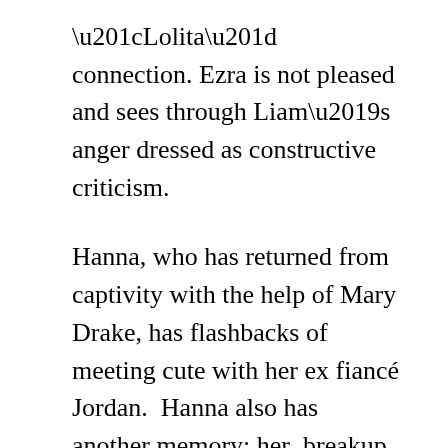“Lolita” connection. Ezra is not pleased and sees through Liam’s anger dressed as constructive criticism.
Hanna, who has returned from captivity with the help of Mary Drake, has flashbacks of meeting cute with her ex fiancé Jordan.  Hanna also has another memory; her breakup. with Jordan. She remembers what happened when she discovers that the bar where they met has been torn down. Poor Hanna reacts badly.
Spencer’s mother fires her for being unfocussed and spending too much time